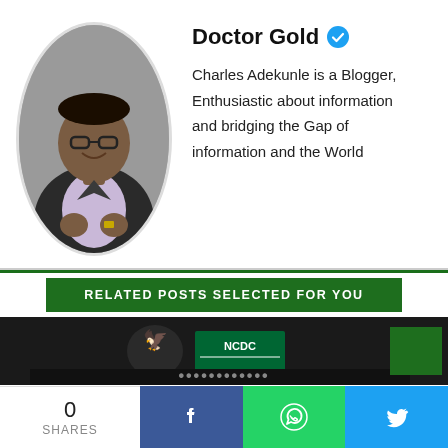[Figure (photo): Oval-framed profile photo of a young man wearing glasses and a dark blazer over a light purple v-neck shirt, smiling, with grey background]
Doctor Gold ✓
Charles Adekunle is a Blogger, Enthusiastic about information and bridging the Gap of information and the World
RELATED POSTS SELECTED FOR YOU
[Figure (photo): Dark banner image showing NCDC logo and Nigerian government eagle emblem with partially visible large text below]
0 SHARES
[Figure (infographic): Social share bar with Facebook (blue), WhatsApp (green), and Twitter (light blue) buttons]